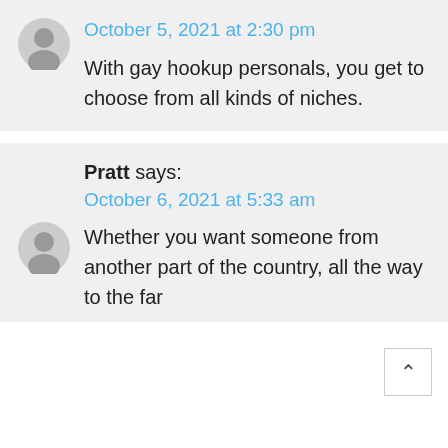October 5, 2021 at 2:30 pm
With gay hookup personals, you get to choose from all kinds of niches.
Pratt says:
October 6, 2021 at 5:33 am
Whether you want someone from another part of the country, all the way to the far